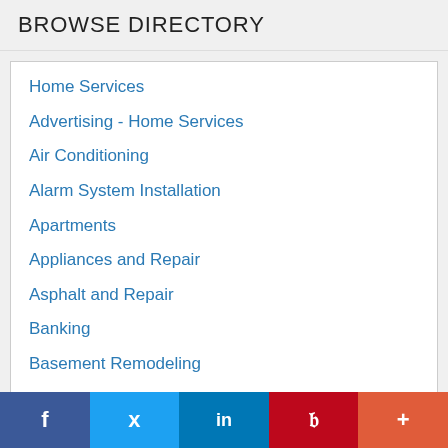BROWSE DIRECTORY
Home Services
Advertising - Home Services
Air Conditioning
Alarm System Installation
Apartments
Appliances and Repair
Asphalt and Repair
Banking
Basement Remodeling
Basements
Bathroom Remodeling
f  Twitter  in  P  +